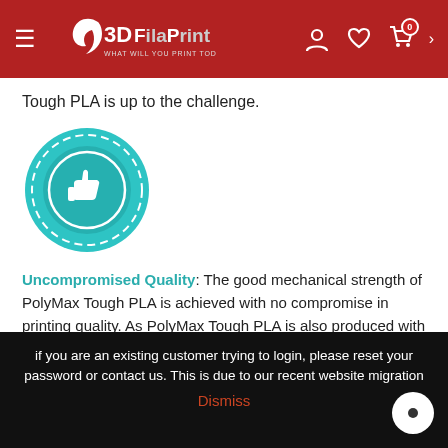3DFilaPrint — What will you print today?
Tough PLA is up to the challenge.
[Figure (illustration): Teal circular badge/seal icon with a thumbs-up symbol in the center]
Uncompromised Quality: The good mechanical strength of PolyMax Tough PLA is achieved with no compromise in printing quality. As PolyMax Tough PLA is also produced with Jam-Free technology you can be certain you will get high quality prints with excellent strength while still enjoying the ease of printing PLA.
if you are an existing customer trying to login, please reset your password or contact us. This is due to our recent website migration
Dismiss